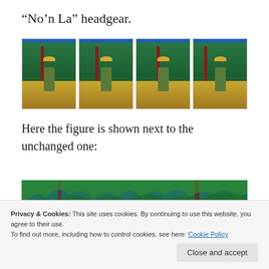“No’n La” headgear.
[Figure (photo): Four photos side by side showing military miniature figures wearing Vietnamese Non La (conical) hats, posed in front of blue sky and green vegetation backdrop]
Here the figure is shown next to the unchanged one:
[Figure (photo): Partial photo showing blue sky and green bamboo/vegetation backdrop for miniature figure scene]
Privacy & Cookies: This site uses cookies. By continuing to use this website, you agree to their use.
To find out more, including how to control cookies, see here: Cookie Policy
Close and accept